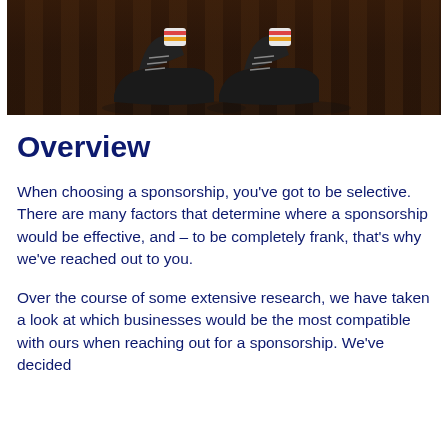[Figure (photo): Partial view of a person's feet wearing black leather lace-up shoes with colorful socks, standing on a wooden deck surface.]
Overview
When choosing a sponsorship, you’ve got to be selective. There are many factors that determine where a sponsorship would be effective, and – to be completely frank, that’s why we’ve reached out to you.
Over the course of some extensive research, we have taken a look at which businesses would be the most compatible with ours when reaching out for a sponsorship. We’ve decided